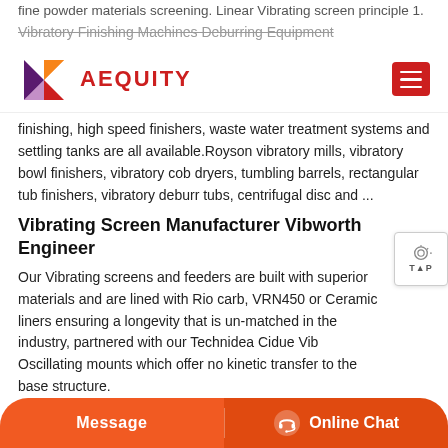fine powder materials screening. Linear Vibrating screen principle 1.
Vibratory Finishing Machines Deburring Equipment
[Figure (logo): AEQUITY logo with triangular icon in red/orange/purple and red hamburger menu button]
finishing, high speed finishers, waste water treatment systems and settling tanks are all available.Royson vibratory mills, vibratory bowl finishers, vibratory cob dryers, tumbling barrels, rectangular tub finishers, vibratory deburr tubs, centrifugal disc and ...
Vibrating Screen Manufacturer Vibworth Engineer...
Our Vibrating screens and feeders are built with superior materials and are lined with Rio carb, VRN450 or Ceramic liners ensuring a longevity that is un-matched in the industry, partnered with our Technidea Cidue Vib Oscillating mounts which offer no kinetic transfer to the base structure.
Walther Trowal Cc215 With Separation Screen Latest
Walther Trowal CC 215 With Separation Screen: Move your mouse
[Figure (screenshot): Bottom chat bar with Message button and Online Chat button in orange]